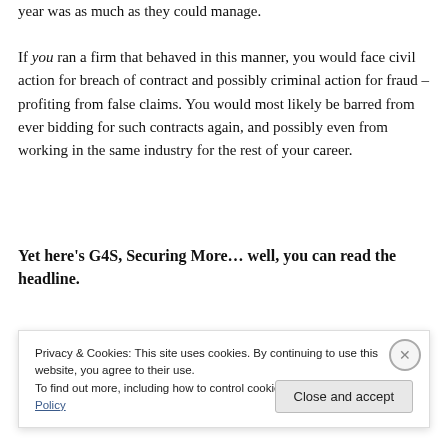year was as much as they could manage.
If you ran a firm that behaved in this manner, you would face civil action for breach of contract and possibly criminal action for fraud – profiting from false claims. You would most likely be barred from ever bidding for such contracts again, and possibly even from working in the same industry for the rest of your career.
Yet here’s G4S, Securing More… well, you can read the headline.
It’ll be clear...
Privacy & Cookies: This site uses cookies. By continuing to use this website, you agree to their use.
To find out more, including how to control cookies, see here: Cookie Policy